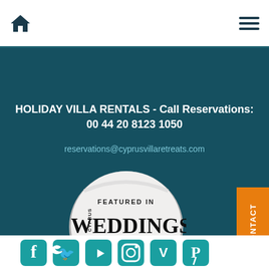Home icon and hamburger menu
HOLIDAY VILLA RENTALS - Call Reservations: 00 44 20 8123 1050
reservations@cyprusvillaretreats.com
[Figure (logo): Round badge: FEATURED IN Cyprus WEDDINGS MAGAZINE ISSUE 2019]
[Figure (logo): Orange CONTACT button on right side]
[Figure (logo): Social media icons row: Facebook, Twitter, YouTube, Instagram, Vimeo, Pinterest in teal]